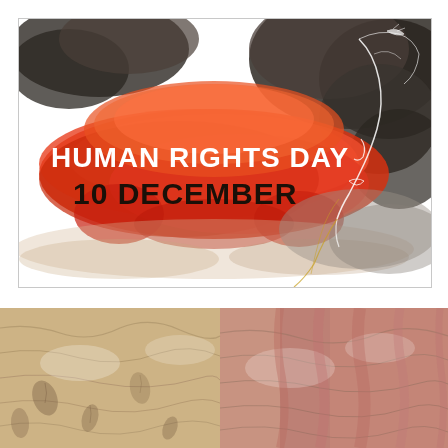[Figure (illustration): Human Rights Day promotional image with watercolor red/orange ink blot in the center-left, dark charcoal/black ink splashes at top and right, with a white line-art silhouette of a woman's face on the right side. Text reads 'HUMAN RIGHTS DAY' in white bold font and '10 DECEMBER' in black bold font over the red ink area.]
[Figure (photo): Close-up photo of crumpled or folded fabric/textile with earthy tan, brown, and dusty rose/red tones, showing texture and folds.]